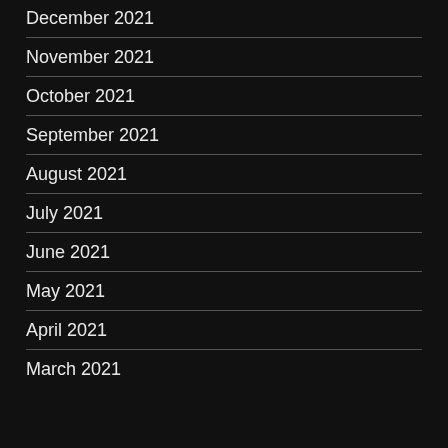December 2021
November 2021
October 2021
September 2021
August 2021
July 2021
June 2021
May 2021
April 2021
March 2021